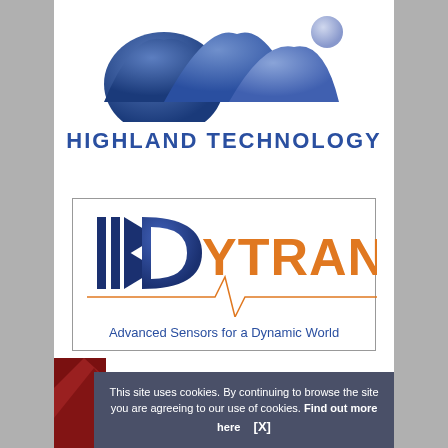[Figure (logo): Highland Technology logo with three blue mountain peaks and a blue sphere, with the text HIGHLAND TECHNOLOGY in bold blue below]
[Figure (logo): Dytran logo inside a bordered box. Blue stylized D with geometric shapes, orange YTRAN text, an orange horizontal line with a waveform spike, and tagline 'Advanced Sensors for a Dynamic World' in blue]
This site uses cookies. By continuing to browse the site you are agreeing to our use of cookies. Find out more here [X]